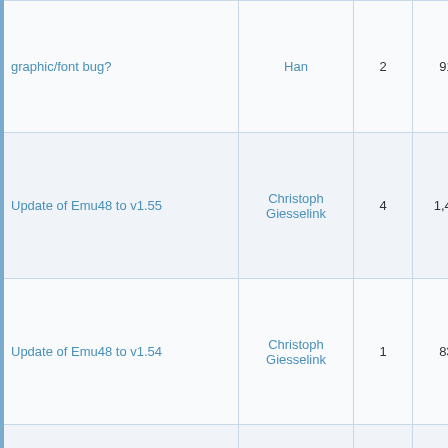| Topic | Author | Replies | Views | Last Post |
| --- | --- | --- | --- | --- |
| graphic/font bug? | Han | 2 | 918 | 10-02-2013, 03:46 PM
Last Post: Han |
| Update of Emu48 to v1.55 | Christoph Giesselink | 4 | 1,445 | 05-26-2013, 05:28 PM
Last Post: Andrew Nikitin |
| Update of Emu48 to v1.54 | Christoph Giesselink | 1 | 833 | 01-23-2013, 05:28 AM
Last Post: Mike (Stgt) |
| Transfering program to Emu48 | wildpig | 4 | 1,308 | 08-24-2012, 01:29 PM
Last Post: Christoph Giess... |
| Emu48 15th Anniversary | Christoph Giesselink | 3 | 1,278 | 08-08-2012, 01:47 AM
Last Post: Gilles Carpentie... |
| Emu28 v1.25 and Emu48 v1.52 update | Christoph Giesselink | 2 | 948 | 04-05-2012, 02:01 AM
Last Post: Gilles Carpentie... |
| Drivers fixed my Emu48-HP48GX communication problem. | Matt Swain | 1 | 717 | 03-31-2012, 03:55 PM
Last Post: Marcus von Cub... |